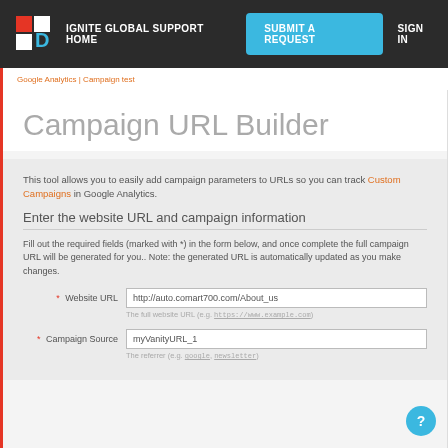IGNITE GLOBAL SUPPORT HOME | SUBMIT A REQUEST | SIGN IN
Google Analytics | Campaign test
Campaign URL Builder
This tool allows you to easily add campaign parameters to URLs so you can track Custom Campaigns in Google Analytics.
Enter the website URL and campaign information
Fill out the required fields (marked with *) in the form below, and once complete the full campaign URL will be generated for you.. Note: the generated URL is automatically updated as you make changes.
* Website URL  http://auto.comart700.com/About_us
The full website URL (e.g. https://www.example.com)
* Campaign Source  myVanityURL_1
The referrer (e.g. google, newsletter)